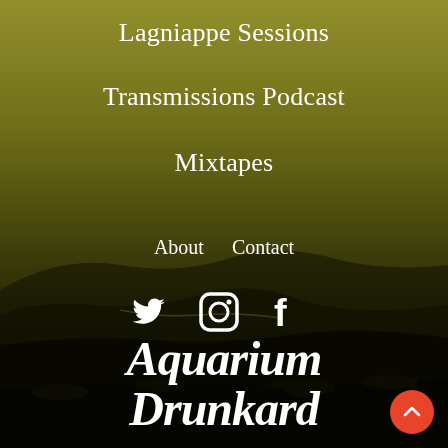[Figure (photo): Background landscape photo showing rolling hills and open terrain with a dark olive/yellow-green tint overlay, dramatically lit sky fading from yellowish-green to near black]
Lagniappe Sessions
Transmissions Podcast
Mixtapes
About
Contact
[Figure (infographic): Social media icons: Twitter bird, Instagram camera outline, Facebook f — all white, centered]
[Figure (logo): Aquarium Drunkard logo in ornate white script/gothic font, two lines]
[Figure (other): Red circular scroll-to-top button with upward arrow, bottom right corner]